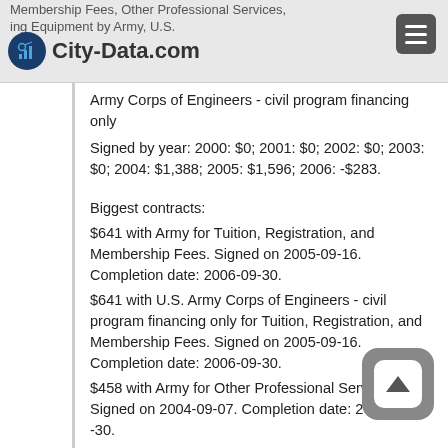City-Data.com — Membership Fees, Other Professional Services, Tuition, Registration/Reporting Equipment by Army, U.S. Army Corps of Engineers - civil program financing only
Army Corps of Engineers - civil program financing only
Signed by year: 2000: $0; 2001: $0; 2002: $0; 2003: $0; 2004: $1,388; 2005: $1,596; 2006: -$283.
Biggest contracts:
$641 with Army for Tuition, Registration, and Membership Fees. Signed on 2005-09-16. Completion date: 2006-09-30.
$641 with U.S. Army Corps of Engineers - civil program financing only for Tuition, Registration, and Membership Fees. Signed on 2005-09-16. Completion date: 2006-09-30.
$458 with Army for Other Professional Services. Signed on 2004-09-07. Completion date: 2004-09-30.
$458 with U.S. Army Corps of Engineers - civil